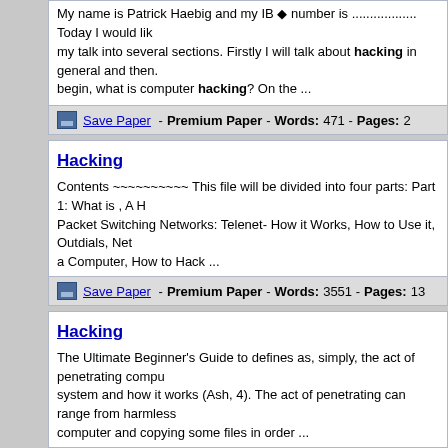My name is Patrick Haebig and my IB ◆ number is .................. Today I would like to divide my talk into several sections. Firstly I will talk about hacking in general and then... begin, what is computer hacking? On the ...
Save Paper - Premium Paper - Words: 471 - Pages: 2
Hacking
Contents ~~~~~~~~~~~ This file will be divided into four parts: Part 1: What is , A H... Packet Switching Networks: Telenet- How it Works, How to Use it, Outdials, Net... a Computer, How to Hack ...
Save Paper - Premium Paper - Words: 3551 - Pages: 13
Hacking
The Ultimate Beginner's Guide to defines as, simply, the act of penetrating compu... system and how it works (Ash, 4). The act of penetrating can range from harmless... computer and copying some files in order ...
Save Paper - Free Paper - Words: 999 - Pages: 4
An Overview Of Hacking